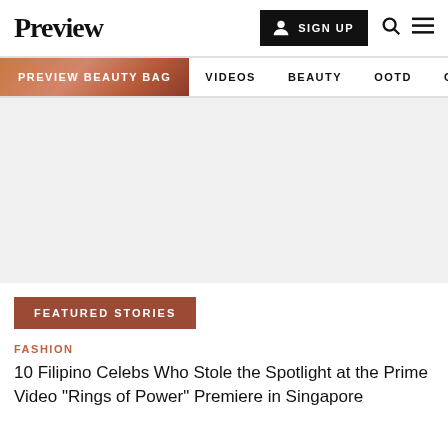Preview
PREVIEW BEAUTY BAG  VIDEOS  BEAUTY  OOTD  COVER STORIES
[Figure (other): Advertisement / blank gray area placeholder]
FEATURED STORIES
FASHION
10 Filipino Celebs Who Stole the Spotlight at the Prime Video "Rings of Power" Premiere in Singapore